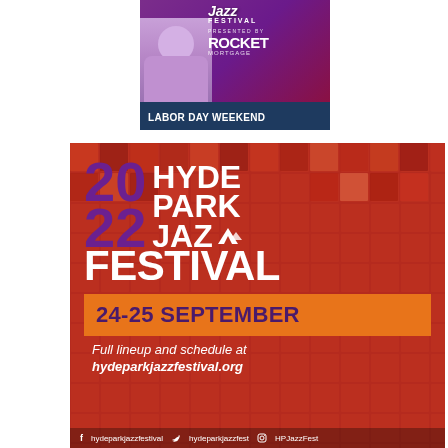[Figure (illustration): Jazz Festival ad presented by Rocket Mortgage with man in purple suit, 'LABOR DAY WEEKEND' banner at bottom]
[Figure (illustration): 2022 Hyde Park Jazz Festival poster with red/orange mosaic background. Shows '2022 HYDE PARK JAZZ FESTIVAL', dates '24-25 SEPTEMBER', 'Full lineup and schedule at hydeparkjazzfestival.org', social media handles: f hydeparkjazzfestival, twitter hydeparkjazzfest, Instagram HPJazzFest]